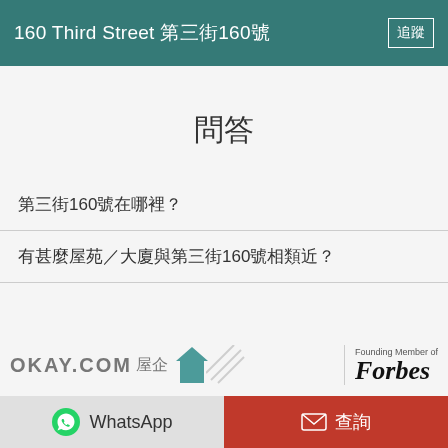160 Third Street 第三街160號
問答
第三街160號在哪裡？
有甚麼屋苑／大廈與第三街160號相類近？
[Figure (logo): OKAY.COM 屋企 logo with teal house icon, and Forbes Founding Member badge]
WhatsApp | 查詢